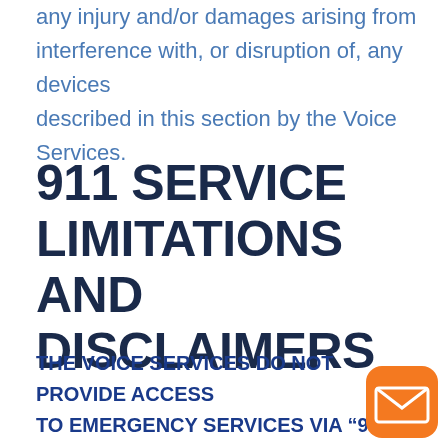any injury and/or damages arising from interference with, or disruption of, any devices described in this section by the Voice Services.
911 SERVICE LIMITATIONS AND DISCLAIMERS
THE VOICE SERVICES DO NOT PROVIDE ACCESS TO EMERGENCY SERVICES VIA “911” IN THE SAME MANNER AS TRADITIONAL LANDLI…